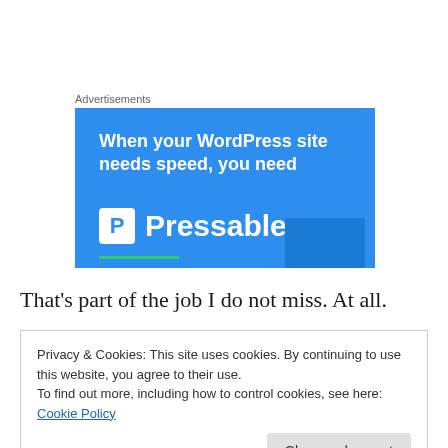Advertisements
[Figure (illustration): Pressable WordPress hosting advertisement banner with blue background. Text reads: 'When your WordPress site needs speed, you need [P logo] Pressable' with a green underline and a person visible at bottom right.]
That’s part of the job I do not miss. At all.
Privacy & Cookies: This site uses cookies. By continuing to use this website, you agree to their use.
To find out more, including how to control cookies, see here: Cookie Policy
Close and accept